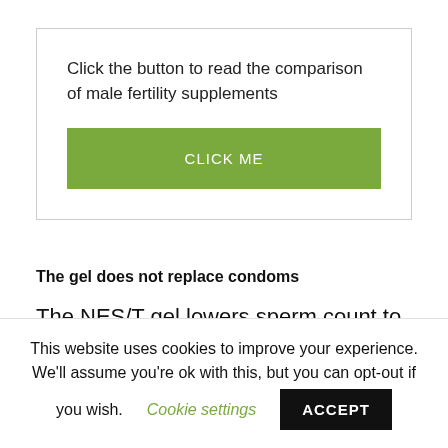Click the button to read the comparison of male fertility supplements
CLICK ME
The gel does not replace condoms
The NES/T gel lowers sperm count to
This website uses cookies to improve your experience. We'll assume you're ok with this, but you can opt-out if you wish.
Cookie settings
ACCEPT